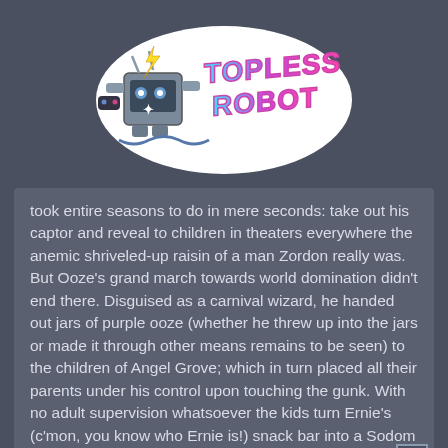[Figure (logo): Topless Robot logo — a cartoon robot with lightning bolt, holding a game controller, with stylized neon pink/blue retro text reading 'TOPLESS ROBOT']
took entire seasons to do in mere seconds: take out his captor and reveal to children in theaters everywhere the anemic shriveled-up raisin of a man Zordon really was. But Ooze's grand march towards world domination didn't end there. Disguised as a carnival wizard, he handed out jars of purple ooze (whether he threw up into the jars or made it through other means remains to be seen) to the children of Angel Grove; which in turn placed all their parents under his control upon touching the gunk. With no adult supervision whatsoever the kids turn Ernie's (c'mon, you know who Ernie is!) snack bar into a Sodom and Gomorrah of ooze and